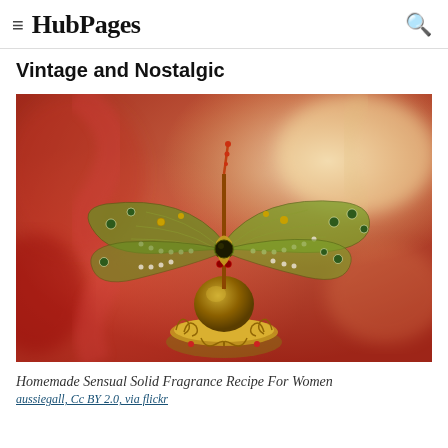≡ HubPages 🔍
Vintage and Nostalgic
[Figure (photo): A ornate dragonfly brooch/perfume bottle topper with green enamel and gemstone wings on a decorative gold filigree base, photographed against a warm orange-red blurred background.]
Homemade Sensual Solid Fragrance Recipe For Women
aussiegall, Cc BY 2.0, via flickr